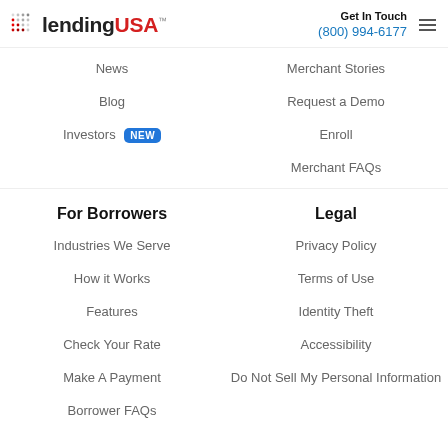lendingUSA™ | Get In Touch (800) 994-6177
News
Merchant Stories
Blog
Request a Demo
Investors NEW
Enroll
Merchant FAQs
For Borrowers
Legal
Industries We Serve
Privacy Policy
How it Works
Terms of Use
Features
Identity Theft
Check Your Rate
Accessibility
Make A Payment
Do Not Sell My Personal Information
Borrower FAQs